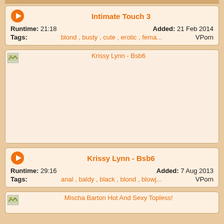Intimate Touch 3
Runtime: 21:18   Added: 21 Feb 2014
Tags: blond , busty , cute , erotic , fema...   VPorn
[Figure (photo): Thumbnail image placeholder for Krissy Lynn - Bsb6]
Krissy Lynn - Bsb6
Runtime: 29:16   Added: 7 Aug 2013
Tags: anal , baldy , black , blond , blowj...   VPorn
[Figure (photo): Thumbnail image placeholder for Mischa Barton Hot And Sexy Topless!]